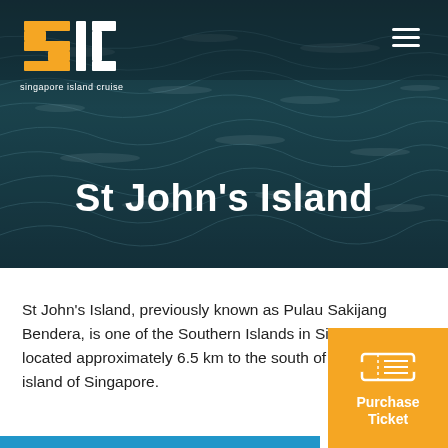[Figure (photo): Dark ocean wave background image for hero section of Singapore Island Cruise website]
[Figure (logo): SIC - Singapore Island Cruise logo with orange geometric S shape and white text]
St John's Island
St John's Island, previously known as Pulau Sakijang Bendera, is one of the Southern Islands in Singapore. It is located approximately 6.5 km to the south of the main island of Singapore.
[Figure (illustration): Orange Purchase Ticket button with ticket icon in bottom right corner]